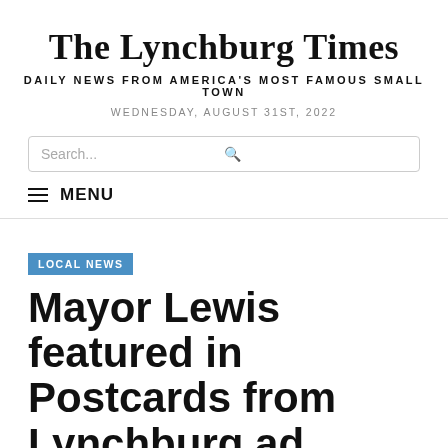The Lynchburg Times
DAILY NEWS FROM AMERICA'S MOST FAMOUS SMALL TOWN
WEDNESDAY, AUGUST 31ST, 2022
Search...
≡ MENU
LOCAL NEWS
Mayor Lewis featured in Postcards from Lynchburg ad